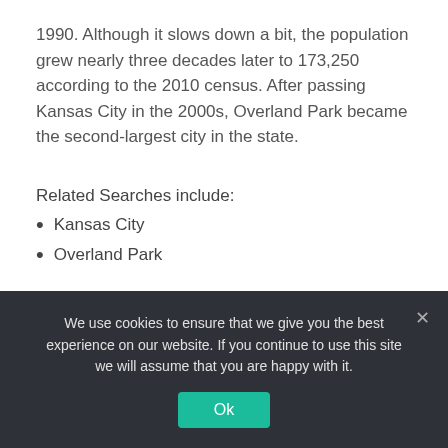1990. Although it slows down a bit, the population grew nearly three decades later to 173,250 according to the 2010 census. After passing Kansas City in the 2000s, Overland Park became the second-largest city in the state.
Related Searches include:
Kansas City
Overland Park
We use cookies to ensure that we give you the best experience on our website. If you continue to use this site we will assume that you are happy with it.